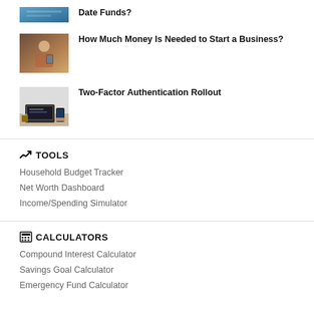[Figure (photo): Thumbnail image of target-date funds article (blue tones, partially visible)]
Date Funds?
[Figure (photo): Thumbnail image of woman in cafe setting for business startup article]
How Much Money Is Needed to Start a Business?
[Figure (photo): Thumbnail image of laptop and phone for two-factor authentication article]
Two-Factor Authentication Rollout
TOOLS
Household Budget Tracker
Net Worth Dashboard
Income/Spending Simulator
CALCULATORS
Compound Interest Calculator
Savings Goal Calculator
Emergency Fund Calculator